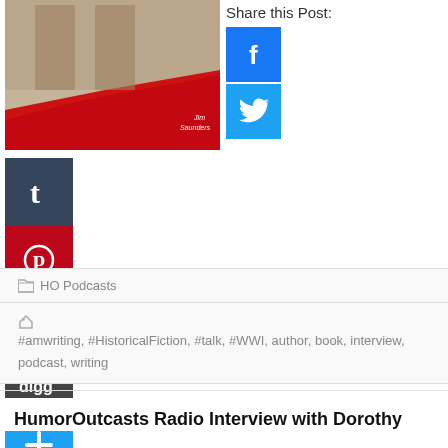[Figure (photo): Book cover photo showing two soldiers in WWI-era uniform with red torn paper element, text 'Jim Saunders' visible]
[Figure (infographic): Share this Post section with Facebook and Twitter icons on right side; Tumblr, Pinterest, LinkedIn, Digg, and add (+) social sharing icons on left side]
HO Podcasts
#amwriting, #HistoricalFiction, #talk, #WWI, author, book, interview, podcast, writing
HumorOutcasts Radio Interview with Dorothy